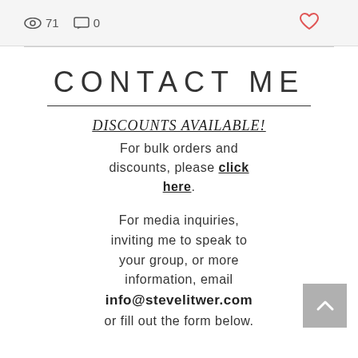[Figure (screenshot): Social media post stats bar showing eye icon with 71 views, comment icon with 0 comments, and a red heart icon on the right]
CONTACT ME
DISCOUNTS AVAILABLE!
For bulk orders and discounts, please click here.
For media inquiries, inviting me to speak to your group, or more information, email info@stevelitwer.com or fill out the form below.